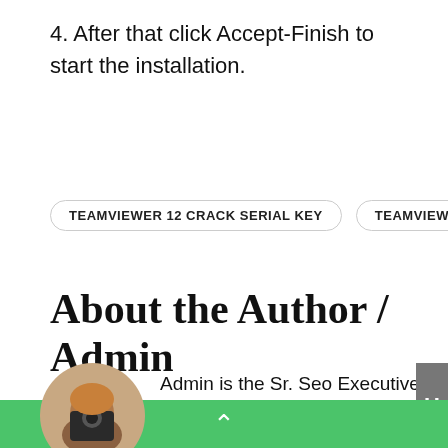4. After that click Accept-Finish to start the installation.
TEAMVIEWER 12 CRACK SERIAL KEY   TEAMVIEWER 13 CRACK
About the Author / Admin
Admin is the Sr. Seo Executive with a passion for blogging. She is the owner and Co-Founder of Foreverdc